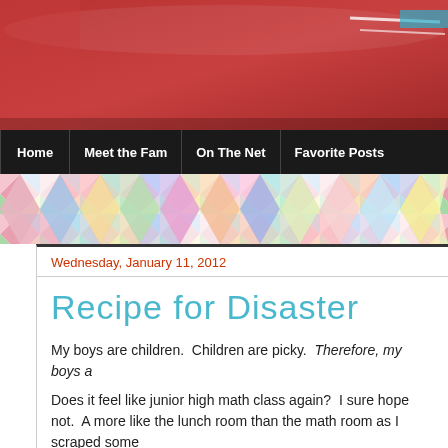[Figure (photo): Blog header photo showing a red surface or car hood with some white lines/reflections visible in the upper right]
Home | Meet the Fam | On The Net | Favorite Posts
[Figure (illustration): Colorful quilt/chevron pattern banner in pastel colors (pink, blue, green, yellow, white, purple) as a decorative divider]
Wednesday, January 11, 2012
Recipe for Disaster
My boys are children.  Children are picky.  Therefore, my boys a
Does it feel like junior high math class again?  I sure hope not.  A more like the lunch room than the math room as I scraped some
"Cael, would you like to have chicken noodle soup or ravioli?"
"I want cookies."